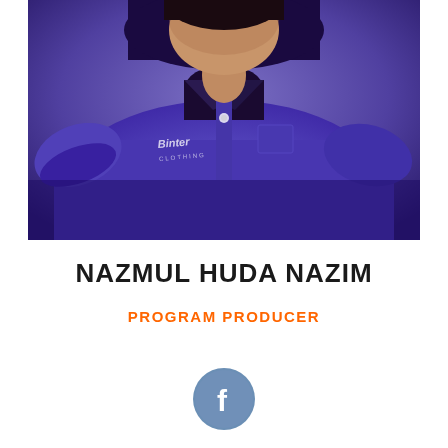[Figure (photo): Portrait photo of a man wearing a blue polo shirt with a logo, cropped to show torso and partial face/head area, with a blurred purple/blue background]
NAZMUL HUDA NAZIM
PROGRAM PRODUCER
[Figure (logo): Facebook logo icon — circular blue background with white 'f' letter]